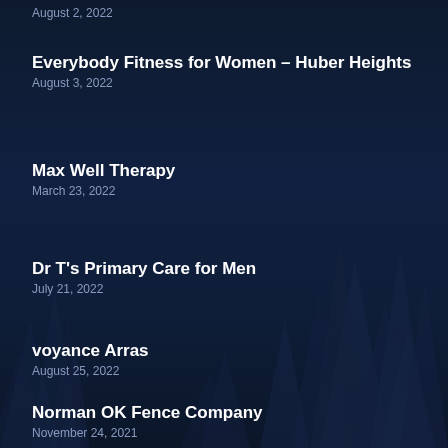August 2, 2022
Everybody Fitness for Women – Huber Heights
August 3, 2022
Max Well Therapy
March 23, 2022
Dr T's Primary Care for Men
July 21, 2022
voyance Arras
August 25, 2022
Norman OK Fence Company
November 24, 2021